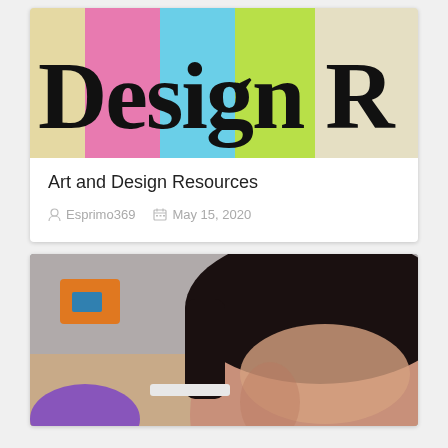[Figure (illustration): Colorful striped banner with text 'Design R' in bold black serif font on pink, cyan, yellow-green, and white vertical stripe background with textured/chalky appearance]
Art and Design Resources
Esprimo369   May 15, 2020
[Figure (photo): Close-up photo of a person's face/forehead with dark hair, office background with orange and blue items visible, and a purple object in lower left foreground]